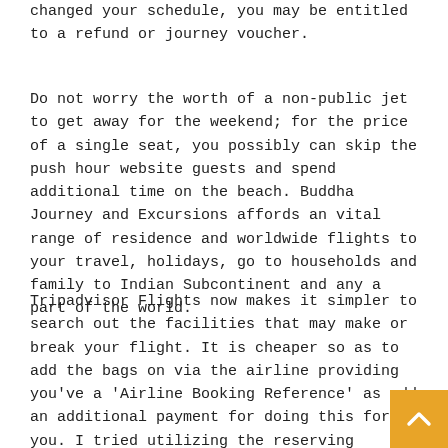changed your schedule, you may be entitled to a refund or journey voucher.
Do not worry the worth of a non-public jet to get away for the weekend; for the price of a single seat, you possibly can skip the push hour website guests and spend additional time on the beach. Buddha Journey and Excursions affords an vital range of residence and worldwide flights to your travel, holidays, go to households and family to Indian Subcontinent and any a part of the world.
Tripadvisor Flights now makes it simpler to search out the facilities that may make or break your flight. It is cheaper so as to add the bags on via the airline providing you've a 'Airline Booking Reference' as add an additional payment for doing this for you. I tried utilizing the reserving quantity to search on the airline's web site, but it's not exhibiting up. I'm getting nervous.